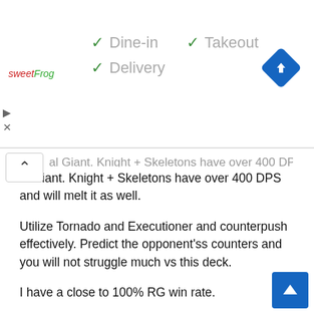[Figure (screenshot): SweetFrog advertisement banner with dine-in, takeout, and delivery checkmarks and a blue navigation icon]
al Giant. Knight + Skeletons have over 400 DPS and will melt it as well.
Utilize Tornado and Executioner and counterpush effectively. Predict the opponent'ss counters and you will not struggle much vs this deck.
I have a close to 100% RG win rate.
Lava Hound
Just in case opponent has Lavahound, do not drop Executioner in any particular lane early on. Use Executioner and Tornado everything together, you will be able to shut down any push put forward by your opponent.